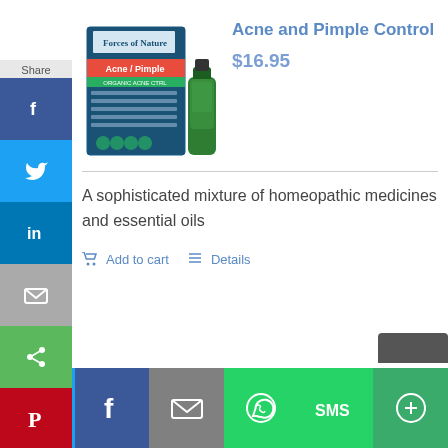[Figure (photo): Forces of Nature Acne/Pimple product box and bottle packaging]
Acne and Pimple Control
$16.95
A sophisticated mixture of homeopathic medicines and essential oils
Add to cart   Details
[Figure (infographic): Social share sidebar with Facebook, Twitter, LinkedIn, Email, Share, Pinterest buttons]
[Figure (infographic): Bottom social share bar with Twitter, Facebook, Email, WhatsApp, SMS, More buttons]